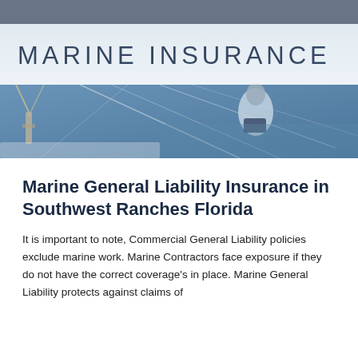[Figure (photo): Hero image of a person on a sailboat at sea, with a semi-transparent white banner overlay displaying 'MARINE INSURANCE' in large thin uppercase letters.]
Marine General Liability Insurance in Southwest Ranches Florida
It is important to note, Commercial General Liability policies exclude marine work. Marine Contractors face exposure if they do not have the correct coverage's in place. Marine General Liability protects against claims of